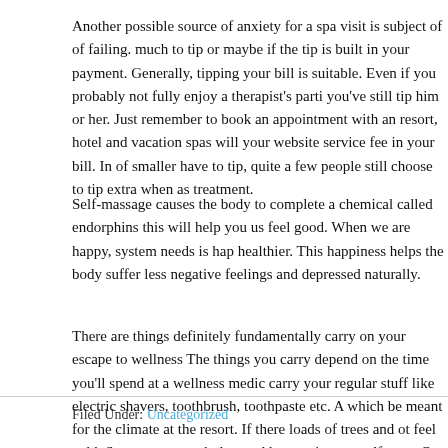Another possible source of anxiety for a spa visit is subject of of failing. much to tip or maybe if the tip is built in your payment. Generally, tipping your bill is suitable. Even if you probably not fully enjoy a therapist's parti you've still tip him or her. Just remember to book an appointment with an resort, hotel and vacation spas will your website service fee in your bill. In of smaller have to tip, quite a few people still choose to tip extra when as treatment.
Self-massage causes the body to complete a chemical called endorphins this will help you us feel good. When we are happy, system needs is hap healthier. This happiness helps the body suffer less negative feelings and depressed naturally.
There are things definitely fundamentally carry on your escape to wellness The things you carry depend on the time you'll spend at a wellness medic carry your regular stuff like electric shavers, toothbrush, toothpaste etc. A which be meant for the climate at the resort. If there loads of trees and ot feel cold. So carry warm clothes and hats assist yourself cozy. Or if lot re your rain coat and umbrellas because well.
Filed Under: Uncategorized